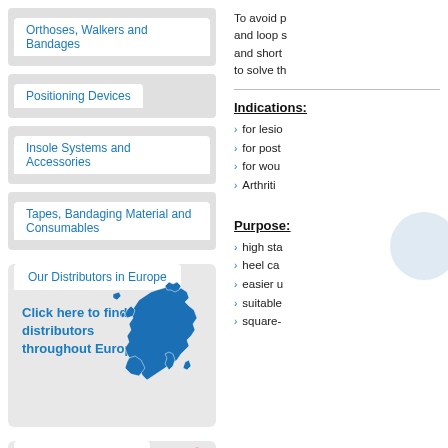Orthoses, Walkers and Bandages
Positioning Devices
Insole Systems and Accessories
Tapes, Bandaging Material and Consumables
Our Distributors in Europe
Click here to find our distributors throughout Europe
[Figure (map): Blue silhouette map of Europe]
Always up to date ...
Register now!
To avoid p and loop s and short to solve th
Indications:
for lesio
for post
for wou
Arthriti
Purpose:
high sta
heel ca
easier u
suitable
square-